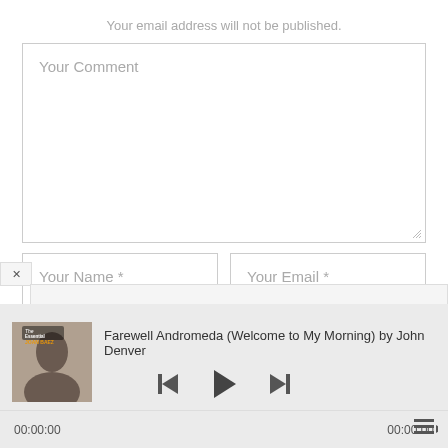Your email address will not be published.
[Figure (screenshot): Web form with Your Comment textarea and Your Name / Your Email input fields]
[Figure (screenshot): Music player bar showing album art for The Essential Joan Baez, song title 'Farewell Andromeda (Welcome to My Morning) by John Denver', playback controls (previous, play, next), time display 00:00:00 on both sides, and queue icon]